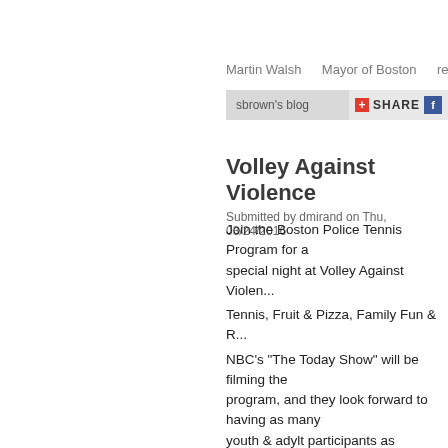Martin Walsh   Mayor of Boston   rec
sbrown's blog
Volley Against Violence
Submitted by dmirand on Thu, 03/24/2016
Join the Boston Police Tennis Program for a special night at Volley Against Violen...
Tennis, Fruit & Pizza, Family Fun & R...
NBC's "The Today Show" will be filming the program, and they look forward to having as many youth & adylt participants as possible.
When: Friday, March 25 6:00-8:00pm
Where: Sportsmens's Tennis & Enric... 950 Blue Hill Ave, Dorchester, MA